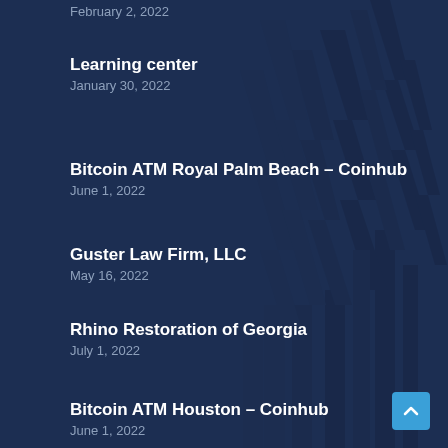February 2, 2022
Learning center
January 30, 2022
Bitcoin ATM Royal Palm Beach – Coinhub
June 1, 2022
Guster Law Firm, LLC
May 16, 2022
Rhino Restoration of Georgia
July 1, 2022
Bitcoin ATM Houston – Coinhub
June 1, 2022